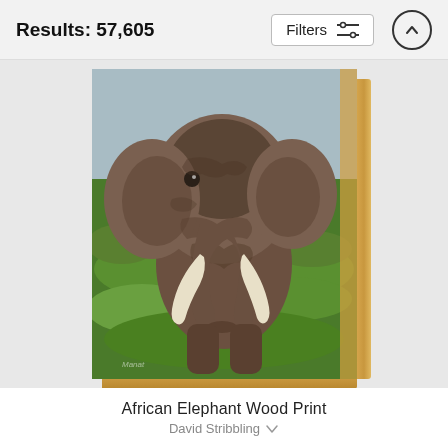Results: 57,605
[Figure (screenshot): UI header bar with Results: 57,605 text, a Filters button with sliders icon, and an up-arrow circle button]
[Figure (illustration): An African elephant painting printed on a wood panel with visible wood edge/side, elephant standing in green savanna grass with blue-grey sky background]
African Elephant Wood Print
David Stribbling